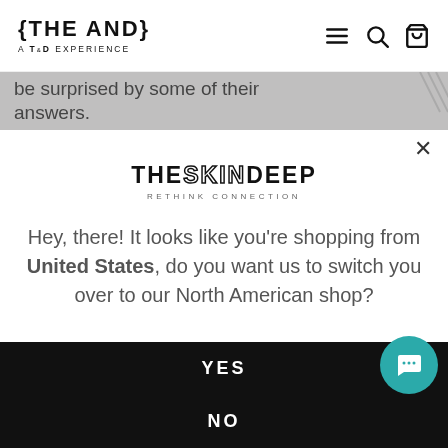{THE AND} A T&D EXPERIENCE
be surprised by some of their answers.
[Figure (logo): THESKINDEEP RETHINK CONNECTION logo]
Hey, there! It looks like you're shopping from United States, do you want us to switch you over to our North American shop?
YES
NO